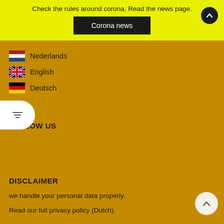Check the rules around corona. Read the news page.
Corona news
Nederlands
English
Deutsch
FOLLOW US
DISCLAIMER
we handle your personal data properly.
Read our full privacy policy (Dutch).